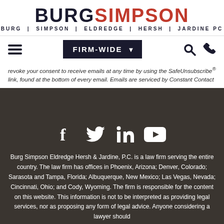BURGSIMPSON | BURG | SIMPSON | ELDREDGE | HERSH | JARDINE PC
FIRM-WIDE (navigation bar with hamburger menu, dropdown, search and phone icons)
revoke your consent to receive emails at any time by using the SafeUnsubscribe® link, found at the bottom of every email. Emails are serviced by Constant Contact
[Figure (infographic): Social media icons: Facebook, Twitter, LinkedIn, YouTube on dark background]
Burg Simpson Eldredge Hersh & Jardine, P.C. is a law firm serving the entire country. The law firm has offices in Phoenix, Arizona; Denver, Colorado; Sarasota and Tampa, Florida; Albuquerque, New Mexico; Las Vegas, Nevada; Cincinnati, Ohio; and Cody, Wyoming. The firm is responsible for the content on this website. This information is not to be interpreted as providing legal services, nor as proposing any form of legal advice. Anyone considering a lawyer should